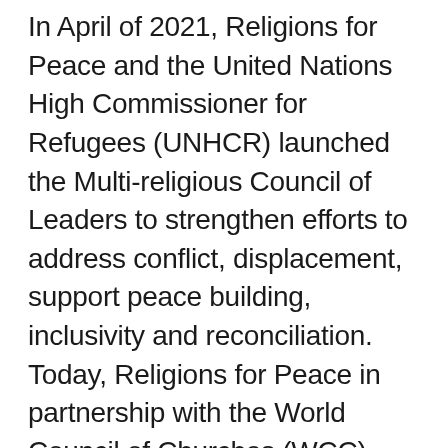In April of 2021, Religions for Peace and the United Nations High Commissioner for Refugees (UNHCR) launched the Multi-religious Council of Leaders to strengthen efforts to address conflict, displacement, support peace building, inclusivity and reconciliation. Today, Religions for Peace in partnership with the World Council of Churches (WCC), have released the Affirmations of Belonging for Faith Leaders. Religions for Peace is indebted to the co-stewardship of the WCC, a member of its governing board.